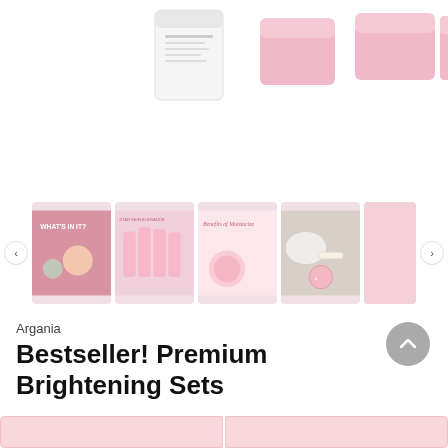[Figure (photo): Top portion of product image showing pink-capped skincare bottles/jars against white background, cropped at top]
[Figure (photo): Thumbnail carousel showing 5 product images: 'WHAT'S IN IT?' ingredients image, skincare product lineup, 'Benefits of Moisturize' infographic, flatlay with skincare products, and partial fifth image. Left and right navigation arrows visible.]
Argania
Bestseller! Premium Brightening Sets